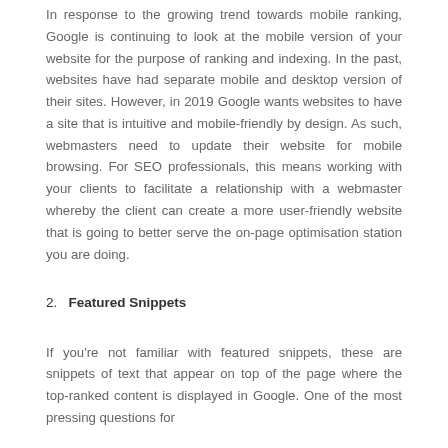In response to the growing trend towards mobile ranking, Google is continuing to look at the mobile version of your website for the purpose of ranking and indexing. In the past, websites have had separate mobile and desktop version of their sites. However, in 2019 Google wants websites to have a site that is intuitive and mobile-friendly by design. As such, webmasters need to update their website for mobile browsing. For SEO professionals, this means working with your clients to facilitate a relationship with a webmaster whereby the client can create a more user-friendly website that is going to better serve the on-page optimisation station you are doing.
2.   Featured Snippets
If you're not familiar with featured snippets, these are snippets of text that appear on top of the page where the top-ranked content is displayed in Google. One of the most pressing questions for